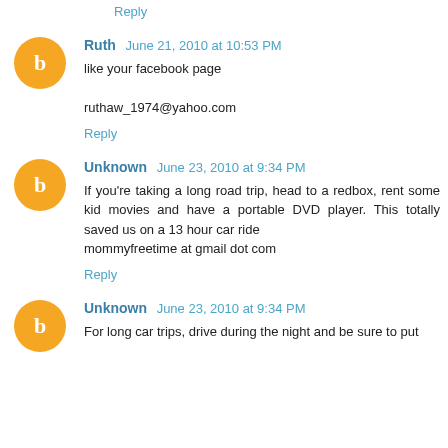Reply
Ruth June 21, 2010 at 10:53 PM
like your facebook page
ruthaw_1974@yahoo.com
Reply
Unknown June 23, 2010 at 9:34 PM
If you're taking a long road trip, head to a redbox, rent some kid movies and have a portable DVD player. This totally saved us on a 13 hour car ride
mommyfreetime at gmail dot com
Reply
Unknown June 23, 2010 at 9:34 PM
For long car trips, drive during the night and be sure to put